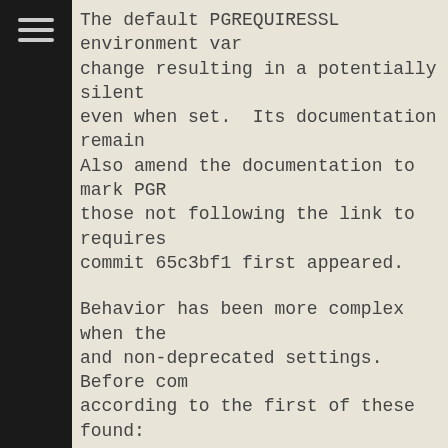The default PGREQUIRESSL environment var change resulting in a potentially silent even when set.  Its documentation remain Also amend the documentation to mark PGR those not following the link to requires commit 65c3bf1 first appeared.
Behavior has been more complex when the and non-deprecated settings.  Before com according to the first of these found:
requiressl=1
PGREQUIRESSL=1
sslmode=*
PGSSLMODE=*
(Note requiressl=0 didn't override sslmo PGREQUIRESSL=1 or a previous requiressl=